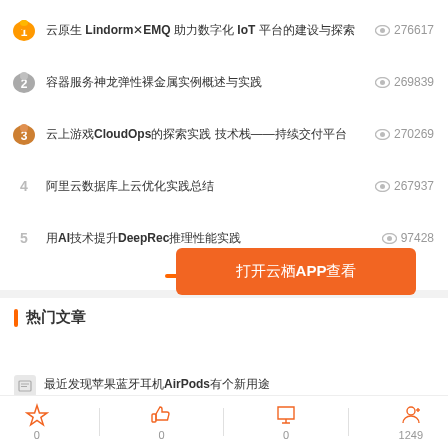1 Lindorm EMQ IoT 276617
2 269839
3 CloudOps —— 270269
4 267937
5 AI DeepRec 97428
热门文章
打开云栖APP查看
近期发现 AirPods 有一个新用途
关于如何更好地处理失业和解雇危机的一些思考
0  0  0  1249